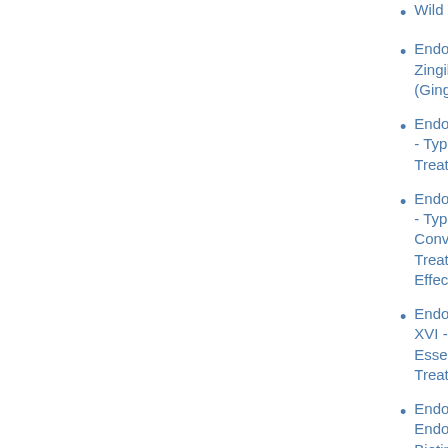Wild Yam
Endometriosis and Zingiber Officinale (Ginger)
Endometriosis Pa - Types of Traditional Treatments
Endometriosis Pa - Types Of Conventional Treatments, Side Effects and Risks
Endometriosis Pa XVI - Types of Essential Oil Help Treat Endometrio
Endometriosis, Endometriosis and Biotin.oral contraceptive dru Endometriosis, endometriosis treatment
Fertility Diet - The Benefits Of Saturated Fat?